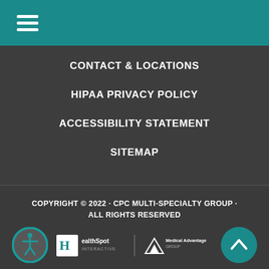CONTACT & LOCATIONS
HIPAA PRIVACY POLICY
ACCESSIBILITY STATEMENT
SITEMAP
COPYRIGHT © 2022 · CPC MULTI-SPECIALTY GROUP · ALL RIGHTS RESERVED
[Figure (logo): HealthSpot Interactive and Medical Advantage Group logos side by side]
Medical Website Design and Medical Marketing by iHealthSpot.com